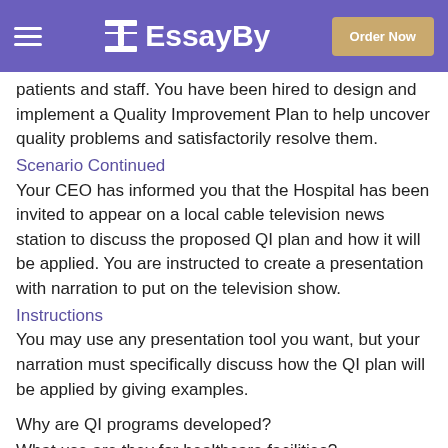EssayBy — Order Now
patients and staff. You have been hired to design and implement a Quality Improvement Plan to help uncover quality problems and satisfactorily resolve them.
Scenario Continued
Your CEO has informed you that the Hospital has been invited to appear on a local cable television news station to discuss the proposed QI plan and how it will be applied. You are instructed to create a presentation with narration to put on the television show.
Instructions
You may use any presentation tool you want, but your narration must specifically discuss how the QI plan will be applied by giving examples.
Why are QI programs developed?
What use are they for healthcare facilities?
What potential use would your facility have for the QI plan?